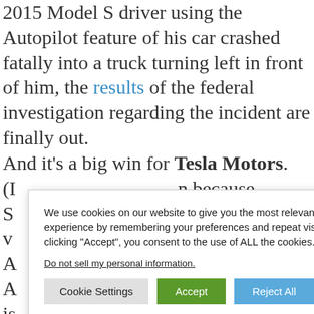2015 Model S driver using the Autopilot feature of his car crashed fatally into a truck turning left in front of him, the results of the federal investigation regarding the incident are finally out. And it's a big win for Tesla Motors. (I... n because S... ne kind of v... A... Traffic Safety A... opilot feature is... sary; and more in... ology seems to h... safety on the roads. More specifically, with the addition of Autosteer — Autopilot's feature that keeps the car within its own lane even when approaching a
We use cookies on our website to give you the most relevant experience by remembering your preferences and repeat visits. By clicking "Accept", you consent to the use of ALL the cookies. Do not sell my personal information. [Cookie Settings] [Accept] [Reject All]